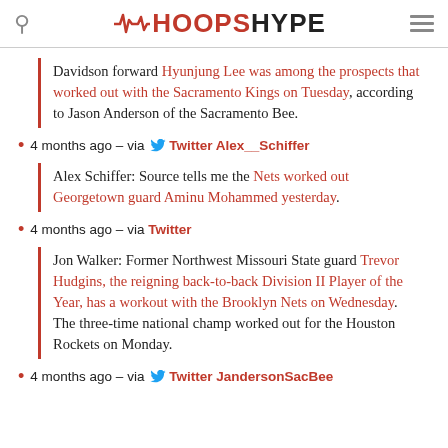HoopsHype
Davidson forward Hyunjung Lee was among the prospects that worked out with the Sacramento Kings on Tuesday, according to Jason Anderson of the Sacramento Bee.
4 months ago – via Twitter Alex__Schiffer
Alex Schiffer: Source tells me the Nets worked out Georgetown guard Aminu Mohammed yesterday.
4 months ago – via Twitter
Jon Walker: Former Northwest Missouri State guard Trevor Hudgins, the reigning back-to-back Division II Player of the Year, has a workout with the Brooklyn Nets on Wednesday. The three-time national champ worked out for the Houston Rockets on Monday.
4 months ago – via Twitter JandersonSacBee